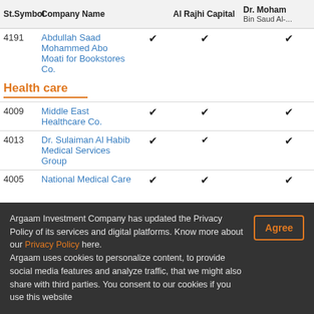| St.Symbol | Company Name |  | Al Rajhi Capital | Dr. Moham Bin Saud Al-... |
| --- | --- | --- | --- | --- |
| 4191 | Abdullah Saad Mohammed Abo Moati for Bookstores Co. | ✔ | ✔ | ✔ |
| Health care |  |  |  |  |
| 4009 | Middle East Healthcare Co. | ✔ | ✔ | ✔ |
| 4013 | Dr. Sulaiman Al Habib Medical Services Group | ✔ | ✔ | ✔ | ✔ |
| 4005 | National Medical Care | ✔ | ✔ | ✔ | ✔ | ✔ |
Argaam Investment Company has updated the Privacy Policy of its services and digital platforms. Know more about our Privacy Policy here. Argaam uses cookies to personalize content, to provide social media features and analyze traffic, that we might also share with third parties. You consent to our cookies if you use this website